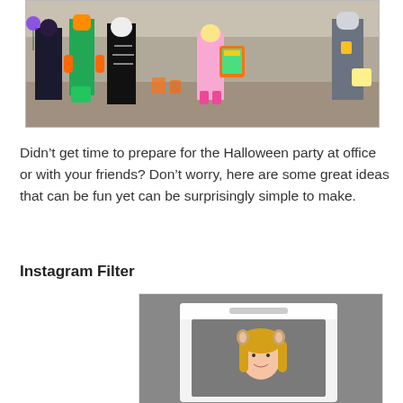[Figure (photo): Children in Halloween costumes including skeleton, pumpkin, and other outfits, standing outdoors on a gravel path. An adult in a police uniform is visible on the right.]
Didn’t get time to prepare for the Halloween party at office or with your friends? Don’t worry, here are some great ideas that can be fun yet can be surprisingly simple to make.
Instagram Filter
[Figure (photo): A woman holding a large Instagram frame prop as a costume, wearing animal ear headband on a grey background.]